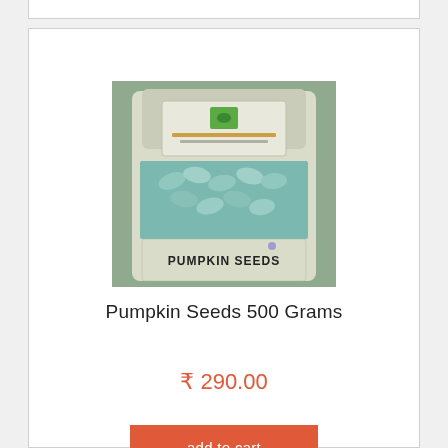[Figure (photo): Product photo of a white standup pouch bag labeled 'PUMPKIN SEEDS' with a green logo and visible pumpkin seeds through a clear window]
Pumpkin Seeds 500 Grams
₹ 290.00
add to cart